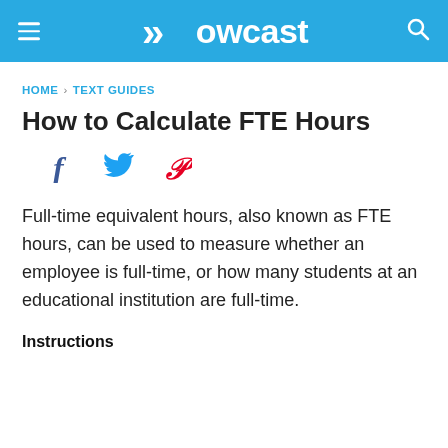Howcast
HOME › TEXT GUIDES
How to Calculate FTE Hours
[Figure (other): Social sharing icons: Facebook, Twitter, Pinterest]
Full-time equivalent hours, also known as FTE hours, can be used to measure whether an employee is full-time, or how many students at an educational institution are full-time.
Instructions